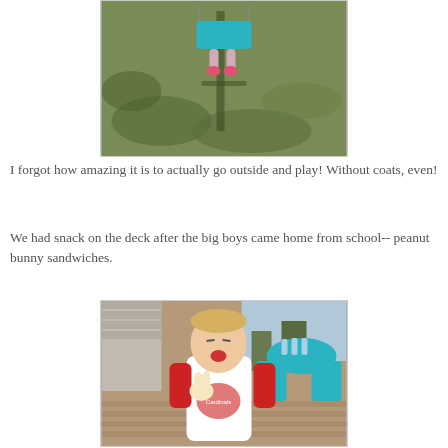[Figure (photo): Child on a swing set outdoors on a grassy lawn, viewed from above, with shadow on the grass. Teal/turquoise swing visible.]
I forgot how amazing it is to actually go outside and play! Without coats, even!
We had snack on the deck after the big boys came home from school-- peanut bunny sandwiches.
[Figure (photo): Young child in a red and white Cardinals t-shirt eating a peanut bunny sandwich on a deck, with blue chairs and a table visible in the background.]